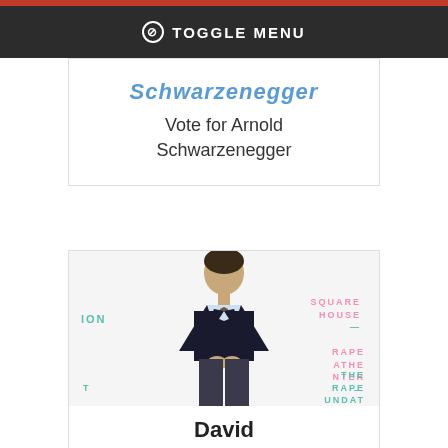TOGGLE MENU
Vote for Arnold Schwarzenegger
[Figure (photo): Photo of David Schwimmer standing in front of a backdrop with text about The Rape Foundation and Square House]
David Schwimmer